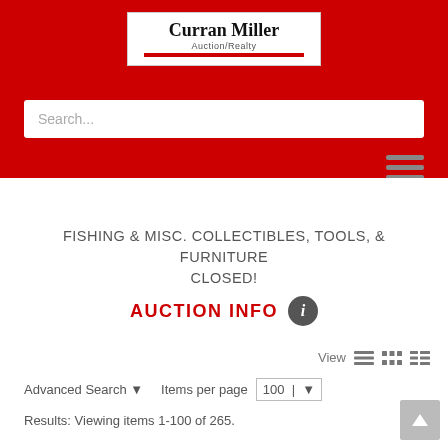[Figure (logo): Curran Miller Auction/Realty logo in white box on red header background]
Search...
FISHING & MISC. COLLECTIBLES, TOOLS, & FURNITURE CLOSED!
AUCTION INFO
View
Advanced Search ▼   Items per page   100 ▼
Results: Viewing items 1-100 of 265.